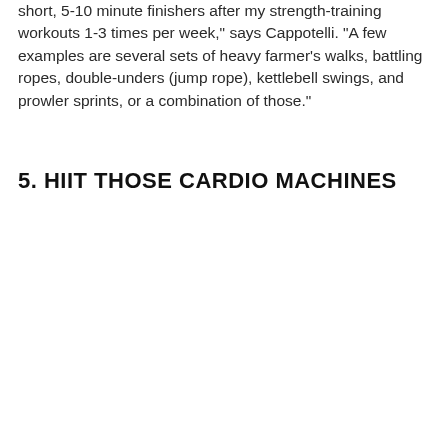short, 5-10 minute finishers after my strength-training workouts 1-3 times per week," says Cappotelli. "A few examples are several sets of heavy farmer's walks, battling ropes, double-unders (jump rope), kettlebell swings, and prowler sprints, or a combination of those."
5. HIIT THOSE CARDIO MACHINES